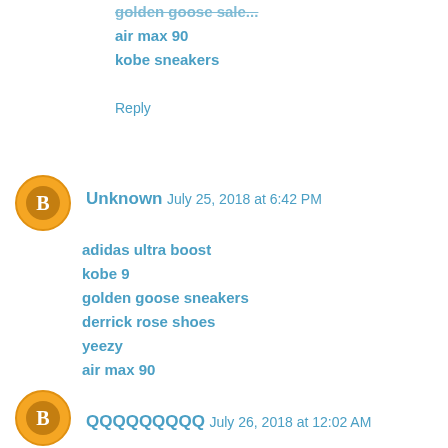air max 90
kobe sneakers
Reply
Unknown  July 25, 2018 at 6:42 PM
adidas ultra boost
kobe 9
golden goose sneakers
derrick rose shoes
yeezy
air max 90
nike air max
kevin durant shoes
nike air vapormax
adidas gazelle sale
Reply
QQQQQQQQQ  July 26, 2018 at 12:02 AM